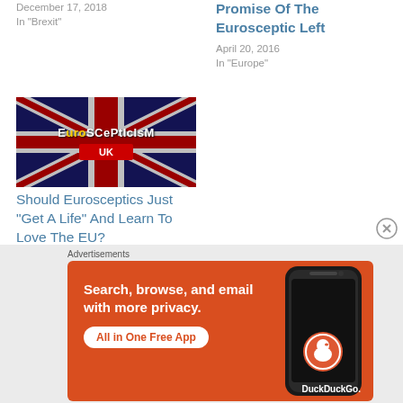December 17, 2018
In "Brexit"
Promise Of The Eurosceptic Left
April 20, 2016
In "Europe"
[Figure (photo): EuroScepticism UK image showing Union Jack flag with EuroScepticism text]
Should Eurosceptics Just “Get A Life” And Learn To Love The EU?
October 6, 2015
In "Britain"
[Figure (screenshot): DuckDuckGo advertisement banner: Search, browse, and email with more privacy. All in One Free App. Shows DuckDuckGo logo and phone image.]